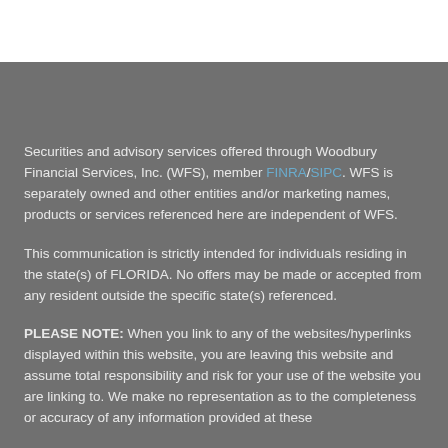Securities and advisory services offered through Woodbury Financial Services, Inc. (WFS), member FINRA/SIPC. WFS is separately owned and other entities and/or marketing names, products or services referenced here are independent of WFS.
This communication is strictly intended for individuals residing in the state(s) of FLORIDA. No offers may be made or accepted from any resident outside the specific state(s) referenced.
PLEASE NOTE: When you link to any of the websites/hyperlinks displayed within this website, you are leaving this website and assume total responsibility and risk for your use of the website you are linking to. We make no representation as to the completeness or accuracy of any information provided at these